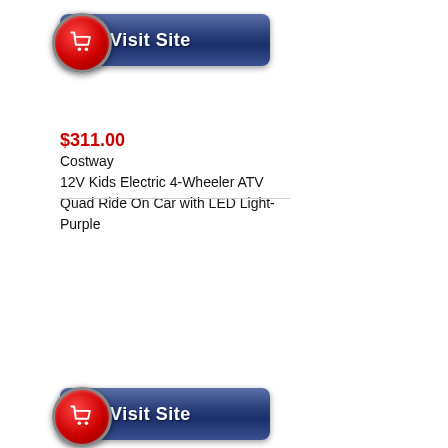[Figure (other): Visit Site button with red shopping cart icon and blue gradient background]
$311.00
Costway
12V Kids Electric 4-Wheeler ATV Quad Ride On Car with LED Light-Purple
[Figure (other): Visit Site button with red shopping cart icon and blue gradient background (partial, at bottom)]